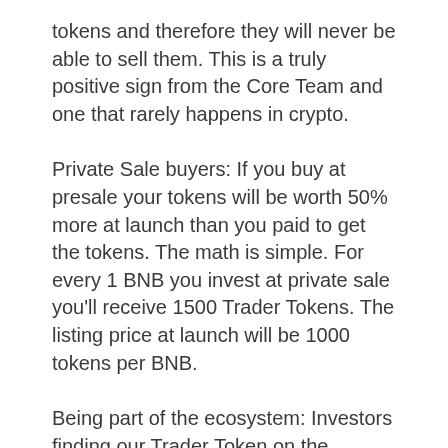tokens and therefore they will never be able to sell them. This is a truly positive sign from the Core Team and one that rarely happens in crypto.
Private Sale buyers: If you buy at presale your tokens will be worth 50% more at launch than you paid to get the tokens. The math is simple. For every 1 BNB you invest at private sale you'll receive 1500 Trader Tokens. The listing price at launch will be 1000 tokens per BNB.
Being part of the ecosystem: Investors finding our Trader Token on the centralised exchanges will likely do some further research into Y-5 and the ecosystem that is being built. It doesn't